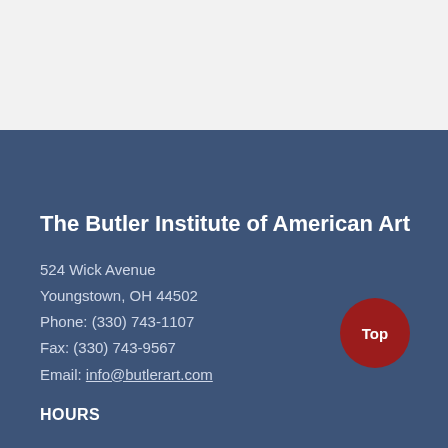[Figure (other): Light gray top section of a webpage, showing partial content area above the footer]
The Butler Institute of American Art
524 Wick Avenue
Youngstown, OH 44502
Phone: (330) 743-1107
Fax: (330) 743-9567
Email: info@butlerart.com
HOURS